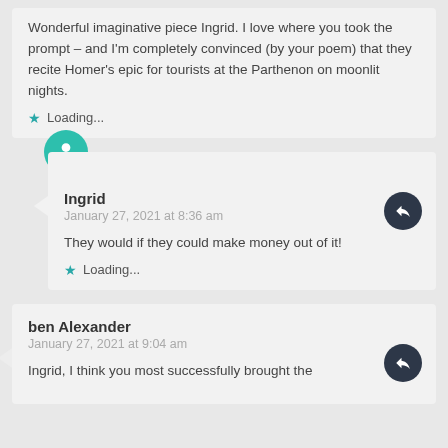Wonderful imaginative piece Ingrid. I love where you took the prompt – and I'm completely convinced (by your poem) that they recite Homer's epic for tourists at the Parthenon on moonlit nights.
Loading...
Ingrid
January 27, 2021 at 8:36 am
They would if they could make money out of it!
Loading...
ben Alexander
January 27, 2021 at 9:04 am
Ingrid, I think you most successfully brought the